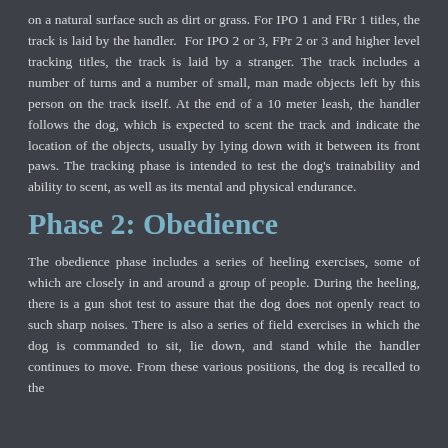on a natural surface such as dirt or grass. For IPO 1 and FRr 1 titles, the track is laid by the handler. For IPO 2 or 3, FPr 2 or 3 and higher level tracking titles, the track is laid by a stranger. The track includes a number of turns and a number of small, man made objects left by this person on the track itself. At the end of a 10 meter leash, the handler follows the dog, which is expected to scent the track and indicate the location of the objects, usually by lying down with it between its front paws. The tracking phase is intended to test the dog's trainability and ability to scent, as well as its mental and physical endurance.
Phase 2: Obedience
The obedience phase includes a series of heeling exercises, some of which are closely in and around a group of people. During the heeling, there is a gun shot test to assure that the dog does not openly react to such sharp noises. There is also a series of field exercises in which the dog is commanded to sit, lie down, and stand while the handler continues to move. From these various positions, the dog is recalled to the